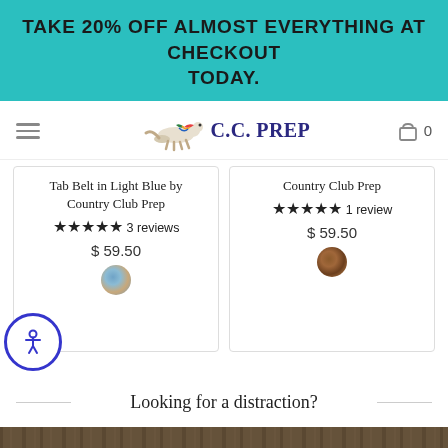TAKE 20% OFF ALMOST EVERYTHING AT CHECKOUT TODAY.
[Figure (logo): C.C. Prep logo with running fox/dog illustration and text 'C.C. PREP' in dark blue]
Tab Belt in Light Blue by Country Club Prep ★★★★★ 3 reviews $ 59.50
Country Club Prep ★★★★★ 1 review $ 59.50
Looking for a distraction?
[Figure (photo): Bottom portion of a photo showing a wooden surface or outdoor scene in brown/tan tones]